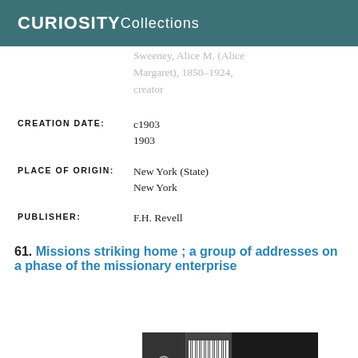CURIOSITY Collections
Sweeney, Alice M. (Alice Margaret), 1850-1924, creator
CREATION DATE:
c1903
1903
PLACE OF ORIGIN:
New York (State)
New York
PUBLISHER:
F.H. Revell
61. Missions striking home ; a group of addresses on a phase of the missionary enterprise
[Figure (photo): Book cover image showing spine and partial cover. Cover title reads MISSIONS in large white text on dark background. Spine shows a logo/icon and number 19871 with barcode.]